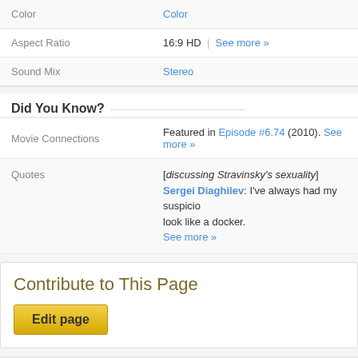| Color | Color |
| Aspect Ratio | 16:9 HD | See more » |
| Sound Mix | Stereo |
Did You Know?
| Movie Connections | Featured in Episode #6.74 (2010). See more » |
| Quotes | [discussing Stravinsky's sexuality]
Sergei Diaghilev: I've always had my suspicio... look like a docker.
See more » |
Contribute to This Page
Edit page
Recently Viewed